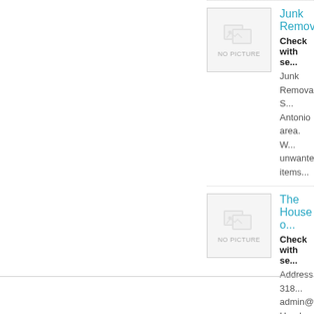[Figure (other): No picture placeholder box for Junk Removal listing]
Junk Remova...
Check with se...
Junk Removal S... Antonio area. W... unwanted items...
[Figure (other): No picture placeholder box for The House of... listing]
The House o...
Check with se...
Address: 318... admin@thehou... Hands Foundat...
[Figure (other): No picture placeholder box for Singapore In... listing]
Singapore In...
Check with se...
The Singapore... Singaporeans a...